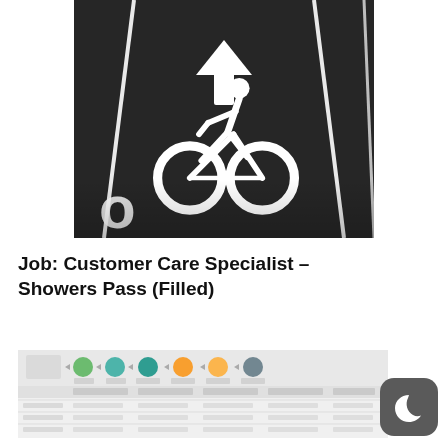[Figure (photo): Aerial view of a dark asphalt bike lane with white painted bicycle symbol, arrow pointing forward, and lane divider lines]
Job: Customer Care Specialist – Showers Pass (Filled)
[Figure (screenshot): Blurred process/workflow diagram with colored circle icons and a table below showing data rows and columns]
[Figure (logo): Dark gray rounded square icon with a crescent moon symbol (night mode icon)]